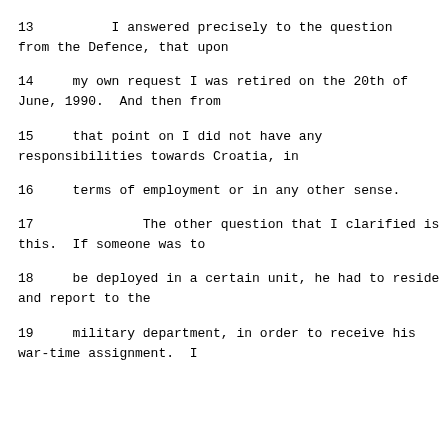13          I answered precisely to the question from the Defence, that upon
14     my own request I was retired on the 20th of June, 1990.  And then from
15     that point on I did not have any responsibilities towards Croatia, in
16     terms of employment or in any other sense.
17              The other question that I clarified is this.  If someone was to
18     be deployed in a certain unit, he had to reside and report to the
19     military department, in order to receive his war-time assignment.  I